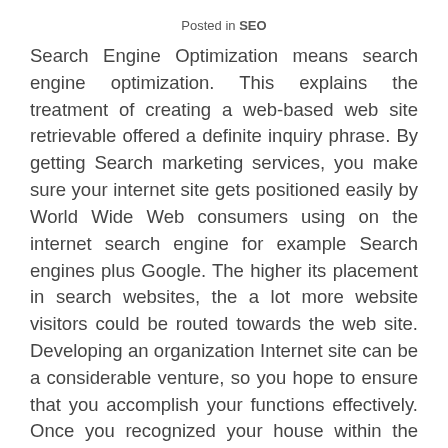Posted in SEO
Search Engine Optimization means search engine optimization. This explains the treatment of creating a web-based web site retrievable offered a definite inquiry phrase. By getting Search marketing services, you make sure your internet site gets positioned easily by World Wide Web consumers using on the internet search engine for example Search engines plus Google. The higher its placement in search websites, the a lot more website visitors could be routed towards the web site. Developing an organization Internet site can be a considerable venture, so you hope to ensure that you accomplish your functions effectively. Once you recognized your house within the online entire world, your goal is usually to get connected to your target market, speak to them, along with keep that link. Just generating a Website site is limited. The ideal Search engine optimization